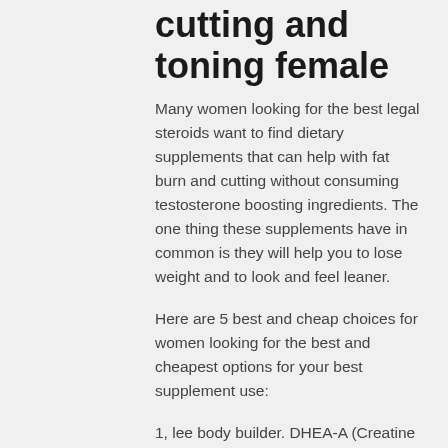cutting and toning female
Many women looking for the best legal steroids want to find dietary supplements that can help with fat burn and cutting without consuming testosterone boosting ingredients. The one thing these supplements have in common is they will help you to lose weight and to look and feel leaner.
Here are 5 best and cheap choices for women looking for the best and cheapest options for your best supplement use:
1, lee body builder. DHEA-A (Creatine Hormone Aspartate)
This is an interesting supplement for a lot of men looking to get more lean muscle mass, for cutting supplements and toning best female. DHEA-A is the main source of…